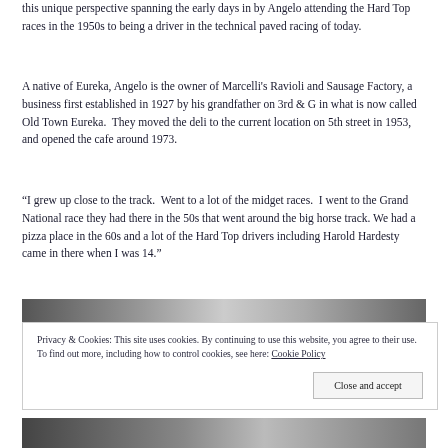this unique perspective spanning the early days in by Angelo attending the Hard Top races in the 1950s to being a driver in the technical paved racing of today.
A native of Eureka, Angelo is the owner of Marcelli's Ravioli and Sausage Factory, a business first established in 1927 by his grandfather on 3rd & G in what is now called Old Town Eureka.  They moved the deli to the current location on 5th street in 1953, and opened the cafe around 1973.
“I grew up close to the track.  Went to a lot of the midget races.  I went to the Grand National race they had there in the 50s that went around the big horse track. We had a pizza place in the 60s and a lot of the Hard Top drivers including Harold Hardesty came in there when I was 14.”
[Figure (photo): Black and white photograph strip at top]
Privacy & Cookies: This site uses cookies. By continuing to use this website, you agree to their use.
To find out more, including how to control cookies, see here: Cookie Policy
[Figure (photo): Black and white photograph strip at bottom]